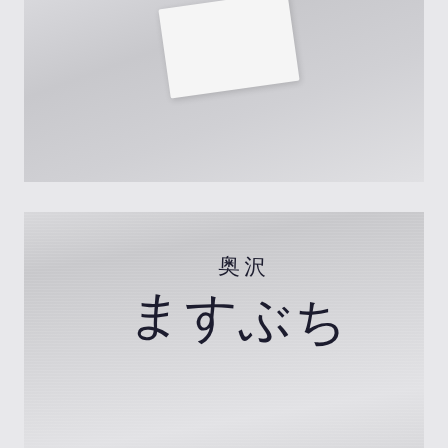[Figure (photo): Top photo showing a corner of a white card or envelope on a light gray textured surface, viewed at an angle]
[Figure (photo): Bottom photo showing a white textured paper surface with Japanese calligraphic brush text reading '奥沢 ますぶち' written vertically in dark ink, photograph taken at an angle with perspective distortion]